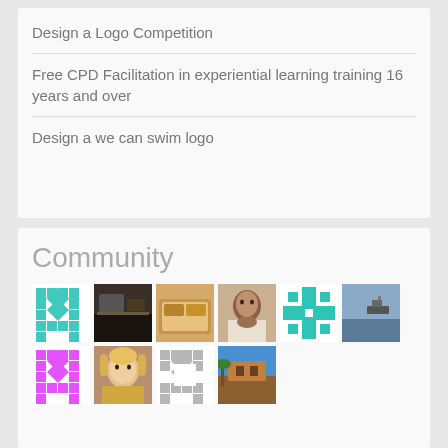Design a Logo Competition
Free CPD Facilitation in experiential learning training 16 years and over
Design a we can swim logo
Community
[Figure (photo): Grid of community member avatars and photos, arranged in two rows of thumbnails]